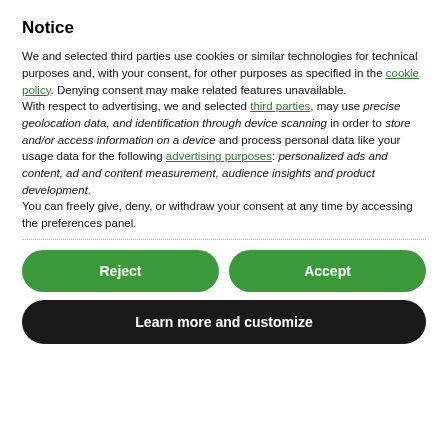Notice
We and selected third parties use cookies or similar technologies for technical purposes and, with your consent, for other purposes as specified in the cookie policy. Denying consent may make related features unavailable.
With respect to advertising, we and selected third parties, may use precise geolocation data, and identification through device scanning in order to store and/or access information on a device and process personal data like your usage data for the following advertising purposes: personalized ads and content, ad and content measurement, audience insights and product development.
You can freely give, deny, or withdraw your consent at any time by accessing the preferences panel.
Reject
Accept
Learn more and customize